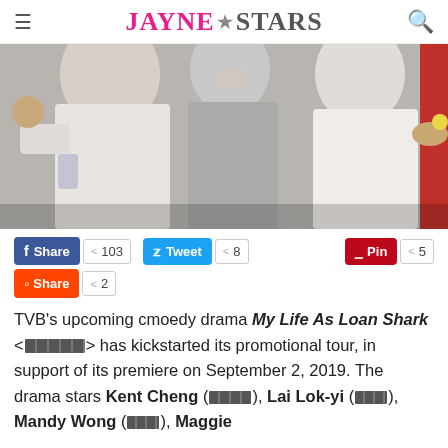JayneStars
[Figure (photo): Photo of people at a promotional event for My Life As Loan Shark TVB drama]
Share 103  Tweet 8  Pin 5  Share 2
TVB's upcoming cmoedy drama My Life As Loan Shark <[CJK]> has kickstarted its promotional tour, in support of its premiere on September 2, 2019. The drama stars Kent Cheng ([CJK]), Lai Lok-yi ([CJK]), Mandy Wong ([CJK]), Maggie